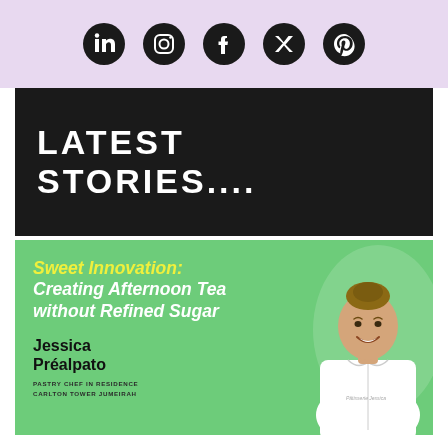[Figure (infographic): Lavender/purple background social media icons bar: LinkedIn, Instagram, Facebook, Twitter, Pinterest — all black circles with white icons]
LATEST STORIES....
[Figure (infographic): Green card with article preview: title 'Sweet Innovation: Creating Afternoon Tea without Refined Sugar' in yellow/white italic bold text, name 'Jessica Préalpato' in black bold, subtitle 'PASTRY CHEF IN RESIDENCE CARLTON TOWER JUMEIRAH', and photo of a smiling woman in white chef jacket on the right side]